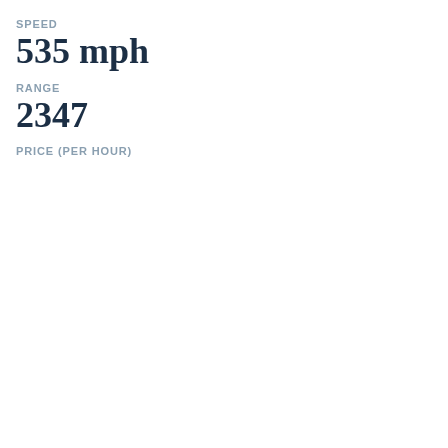SPEED
535 mph
RANGE
2347
PRICE (PER HOUR)